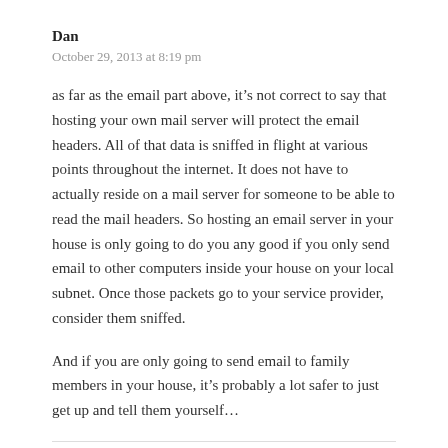Dan
October 29, 2013 at 8:19 pm
as far as the email part above, it’s not correct to say that hosting your own mail server will protect the email headers. All of that data is sniffed in flight at various points throughout the internet. It does not have to actually reside on a mail server for someone to be able to read the mail headers. So hosting an email server in your house is only going to do you any good if you only send email to other computers inside your house on your local subnet. Once those packets go to your service provider, consider them sniffed.
And if you are only going to send email to family members in your house, it’s probably a lot safer to just get up and tell them yourself…